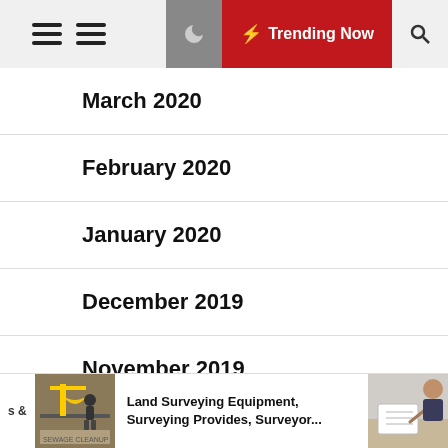Trending Now
March 2020
February 2020
January 2020
December 2019
November 2019
October 2019
September 2019
s & Land Surveying Equipment, Surveying Provides, Surveyor...